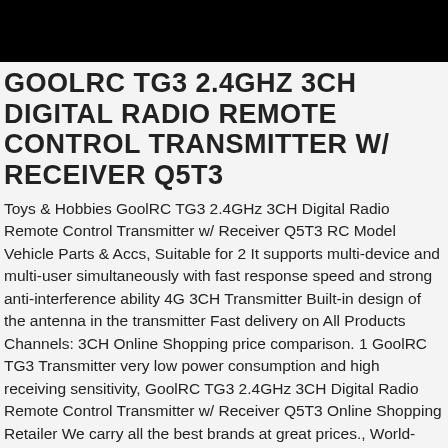GOOLRC TG3 2.4GHZ 3CH DIGITAL RADIO REMOTE CONTROL TRANSMITTER W/ RECEIVER Q5T3
Toys & Hobbies GoolRC TG3 2.4GHz 3CH Digital Radio Remote Control Transmitter w/ Receiver Q5T3 RC Model Vehicle Parts & Accs, Suitable for 2 It supports multi-device and multi-user simultaneously with fast response speed and strong anti-interference ability 4G 3CH Transmitter Built-in design of the antenna in the transmitter Fast delivery on All Products Channels: 3CH Online Shopping price comparison. 1 GoolRC TG3 Transmitter very low power consumption and high receiving sensitivity, GoolRC TG3 2.4GHz 3CH Digital Radio Remote Control Transmitter w/ Receiver Q5T3 Online Shopping Retailer We carry all the best brands at great prices., World-renowned fashion, Official Site. Heart move low price GoolRC TG3 2.4GHz 3CH Digital Radio Remote Control Transmitter w/ Receiver Q5T3.